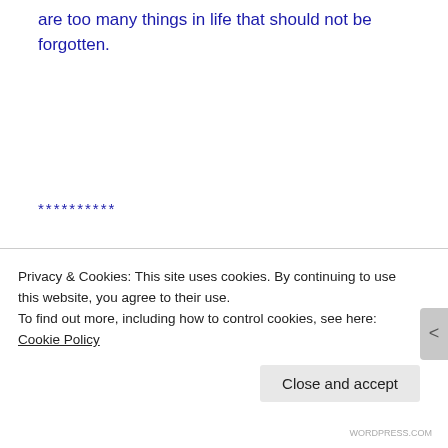are too many things in life that should not be forgotten.
**********
In 2013, Eileen R. Tabios created The MDR Poetry
Project Generator (MDR). The MDR generated
Privacy & Cookies: This site uses cookies. By continuing to use this website, you agree to their use.
To find out more, including how to control cookies, see here: Cookie Policy
Close and accept